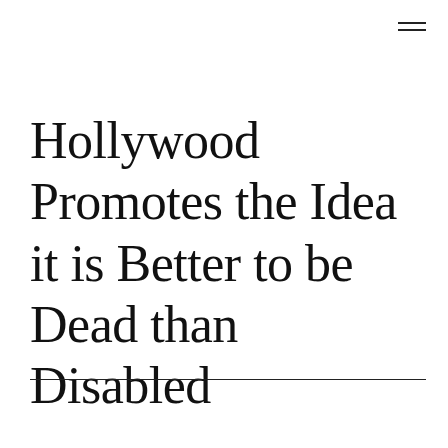≡
Hollywood Promotes the Idea it is Better to be Dead than Disabled